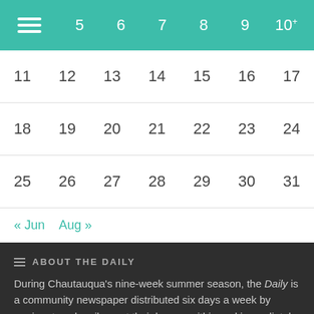|  | 5 | 6 | 7 | 8 | 9 | 10+ |
| --- | --- | --- | --- | --- | --- | --- |
| 11 | 12 | 13 | 14 | 15 | 16 | 17 |
| 18 | 19 | 20 | 21 | 22 | 23 | 24 |
| 25 | 26 | 27 | 28 | 29 | 30 | 31 |
« Jun   Aug »
ABOUT THE DAILY
During Chautauqua's nine-week summer season, the Daily is a community newspaper distributed six days a week by carriers to subscribers at their homes within and immediately outside th